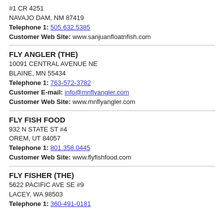#1 CR 4251
NAVAJO DAM, NM 87419
Telephone 1: 505.632.5385
Customer Web Site: www.sanjuanfloatnfish.com
FLY ANGLER (THE)
10091 CENTRAL AVENUE NE
BLAINE, MN 55434
Telephone 1: 763-572-3782
Customer E-mail: info@mnflyangler.com
Customer Web Site: www.mnflyangler.com
FLY FISH FOOD
932 N STATE ST #4
OREM, UT 84057
Telephone 1: 801.358.0445
Customer Web Site: www.flyfishfood.com
FLY FISHER (THE)
5622 PACIFIC AVE SE #9
LACEY, WA 98503
Telephone 1: 360-491-0181